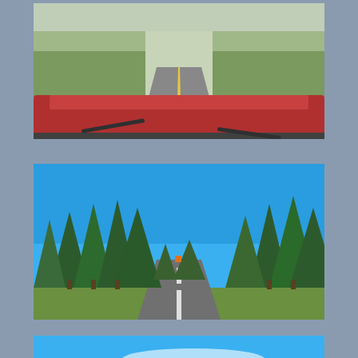[Figure (photo): View from inside a red vehicle looking out through the windshield at a two-lane road stretching into the distance, surrounded by green sagebrush and scrubland.]
[Figure (photo): A two-lane road through a forest of tall pine/fir trees under a clear bright blue sky, photographed from ground level looking straight ahead.]
[Figure (photo): Another road scene through forest with bright blue sky and wispy clouds, partially visible at bottom of page.]